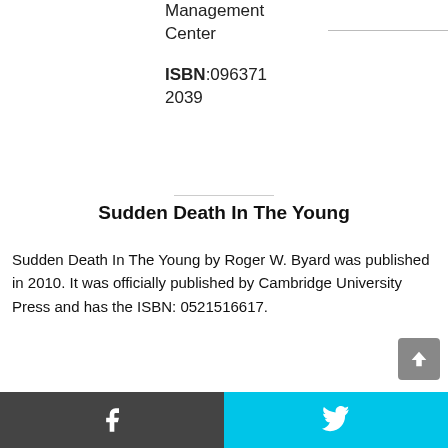ISBN:0963712039
Sudden Death In The Young
Sudden Death In The Young by Roger W. Byard was published in 2010. It was officially published by Cambridge University Press and has the ISBN: 0521516617.